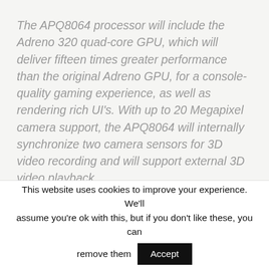The APQ8064 processor will include the Adreno 320 quad-core GPU, which will deliver fifteen times greater performance than the original Adreno GPU, for a console-quality gaming experience, as well as rendering rich UI's. With up to 20 Megapixel camera support, the APQ8064 will internally synchronize two camera sensors for 3D video recording and will support external 3D video playback.
This website uses cookies to improve your experience. We'll assume you're ok with this, but if you don't like these, you can remove them